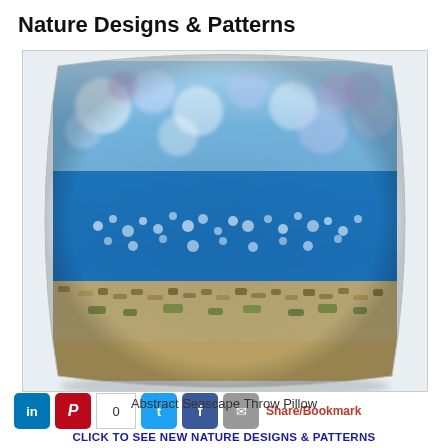Nature Designs & Patterns
[Figure (photo): A decorative throw pillow with an abstract seascape design featuring blue ocean water, bokeh light effects at the top, scattered white bubble-like dots in the middle, and a sandy/earthy texture at the bottom.]
Abstract Seascape Throw Pillow
Share/Bookmark
CLICK TO SEE NEW NATURE DESIGNS & PATTERNS